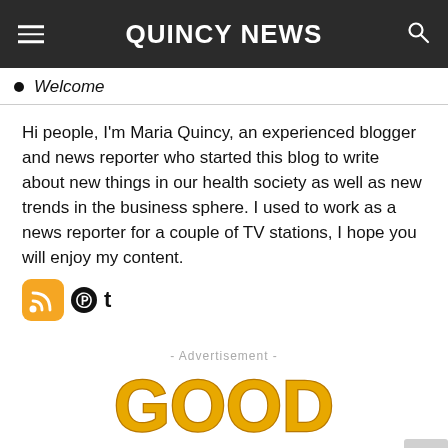QUINCY NEWS
Welcome
Hi people, I'm Maria Quincy, an experienced blogger and news reporter who started this blog to write about new things in our health society as well as new trends in the business sphere. I used to work as a news reporter for a couple of TV stations, I hope you will enjoy my content.
[Figure (infographic): Social media icons: RSS feed button (orange rounded square), Pinterest icon, Tumblr icon]
- Advertisement -
[Figure (illustration): 3D gold/yellow text reading GOOD MORNING (partially visible, cropped at bottom)]